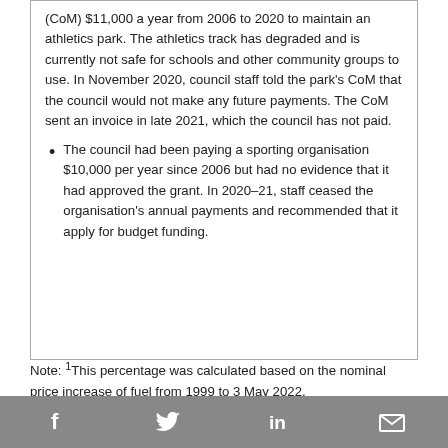(CoM) $11,000 a year from 2006 to 2020 to maintain an athletics park. The athletics track has degraded and is currently not safe for schools and other community groups to use. In November 2020, council staff told the park's CoM that the council would not make any future payments. The CoM sent an invoice in late 2021, which the council has not paid.
The council had been paying a sporting organisation $10,000 per year since 2006 but had no evidence that it had approved the grant. In 2020–21, staff ceased the organisation's annual payments and recommended that it apply for budget funding.
Note: 1This percentage was calculated based on the nominal price increase of fuel from 1999 to 3 May 2022.
Social media share icons: Facebook, Twitter, LinkedIn, Email